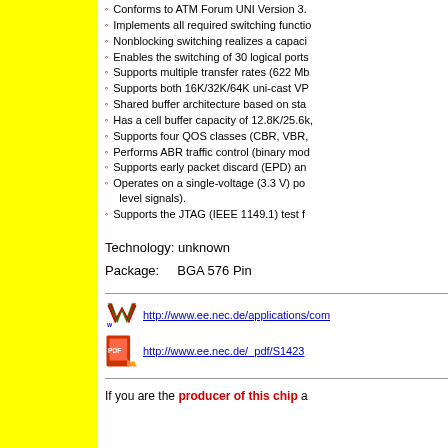Conforms to ATM Forum UNI Version 3.
Implements all required switching functio
Nonblocking switching realizes a capaci
Enables the switching of 30 logical ports
Supports multiple transfer rates (622 Mb
Supports both 16K/32K/64K uni-cast VP
Shared buffer architecture based on sta
Has a cell buffer capacity of 12.8K/25.6k
Supports four QOS classes (CBR, VBR,
Performs ABR traffic control (binary mod
Supports early packet discard (EPD) an
Operates on a single-voltage (3.3 V) po level signals).
Supports the JTAG (IEEE 1149.1) test f
Technology: unknown
Package:    BGA 576 Pin
http://www.ee.nec.de/applications/com
http://www.ee.nec.de/_pdf/S1423
If you are the producer of this chip a